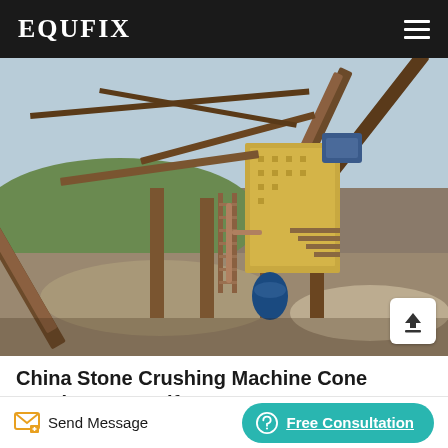EQUFIX
[Figure (photo): Photo of a large industrial stone crushing machine / cone crusher setup at a quarry or mining site. Heavy rusted steel frame with conveyor belts, a large yellow rectangular crusher unit, multiple support columns, stairways, and piles of crushed stone/gravel on the ground. Sky visible in upper background.]
China Stone Crushing Machine Cone Crusher Cost Wlf1380 ...
Send Message
Free Consultation